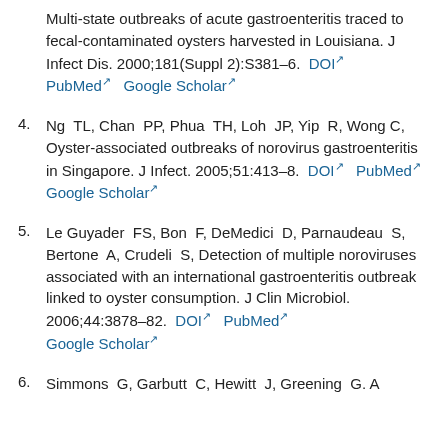Multi-state outbreaks of acute gastroenteritis traced to fecal-contaminated oysters harvested in Louisiana. J Infect Dis. 2000;181(Suppl 2):S381–6. DOI PubMed Google Scholar
4. Ng TL, Chan PP, Phua TH, Loh JP, Yip R, Wong C, Oyster-associated outbreaks of norovirus gastroenteritis in Singapore. J Infect. 2005;51:413–8. DOI PubMed Google Scholar
5. Le Guyader FS, Bon F, DeMedici D, Parnaudeau S, Bertone A, Crudeli S, Detection of multiple noroviruses associated with an international gastroenteritis outbreak linked to oyster consumption. J Clin Microbiol. 2006;44:3878–82. DOI PubMed Google Scholar
6. Simmons G, Garbutt C, Hewitt J, Greening G. A